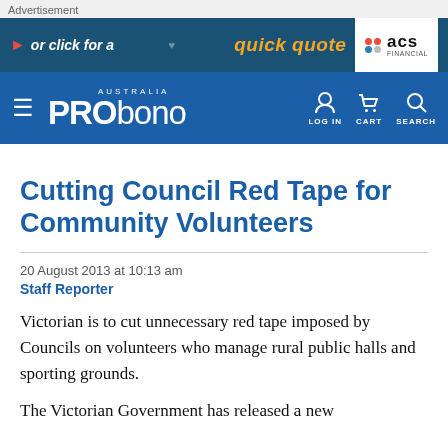Advertisement
[Figure (other): ACS Financial advertisement banner: 'or click for a quick quote' with ACS Financial logo on dark blue background]
[Figure (logo): Pro Bono Australia website navigation bar with hamburger menu, PRObono Australia logo, LOG IN, CART, and SEARCH icons]
Cutting Council Red Tape for Community Volunteers
20 August 2013 at 10:13 am
Staff Reporter
Victorian is to cut unnecessary red tape imposed by Councils on volunteers who manage rural public halls and sporting grounds.
The Victorian Government has released a new